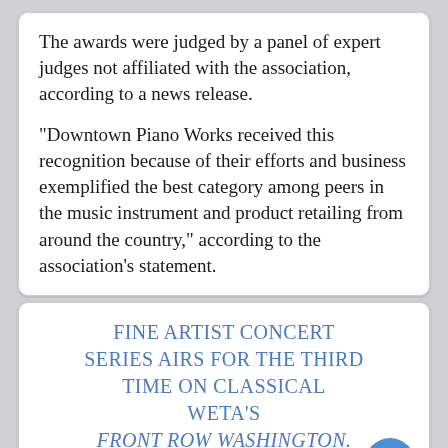The awards were judged by a panel of expert judges not affiliated with the association, according to a news release.

"Downtown Piano Works received this recognition because of their efforts and business exemplified the best category among peers in the music instrument and product retailing from around the country," according to the association's statement.
FINE ARTIST CONCERT SERIES AIRS FOR THE THIRD TIME ON CLASSICAL WETA'S FRONT ROW WASHINGTON.